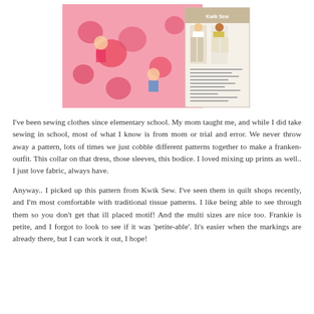[Figure (photo): Photo of pink Valentine's Day themed fabric with cartoon characters and hearts, alongside a Kwik Sew sewing pattern envelope showing women wearing pajama pants and shorts]
I've been sewing clothes since elementary school.  My mom taught me, and while I did take sewing in school, most of what I know is from mom or trial and error. We never throw away a pattern, lots of times we just cobble different patterns together to make a franken-outfit. This collar on that dress, those sleeves, this bodice.  I loved mixing up prints as well..  I just love fabric, always have.
Anyway.. I picked up this pattern from Kwik Sew. I've seen them in quilt shops recently, and I'm most comfortable with traditional tissue patterns. I like being able to see through them so you don't get that ill placed motif! And the multi sizes are nice too.   Frankie is petite, and I forgot to look to see if it was 'petite-able'.   It's easier when the markings are already there, but I can work it out, I hope!